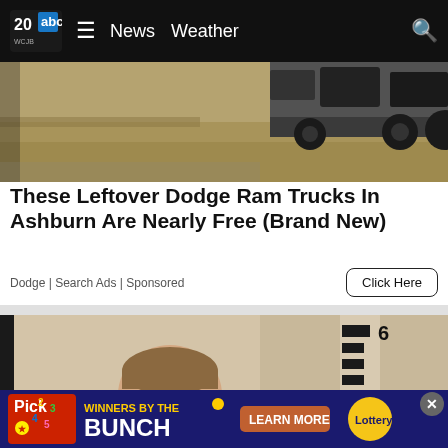20 WCJB | News  Weather
[Figure (photo): Top portion of a dirt surface with vehicles/trucks visible in the upper right, screenshot from a news video]
These Leftover Dodge Ram Trucks In Ashburn Are Nearly Free (Brand New)
Dodge | Search Ads | Sponsored
[Figure (photo): Mugshot/booking photo of a young man in front of a height measurement wall showing markings at 5 feet and 6 feet]
[Figure (infographic): Bottom advertisement banner: Pick 2 3 4 5 lottery game - WINNERS BY THE BUNCH - LEARN MORE - Lottery logo]